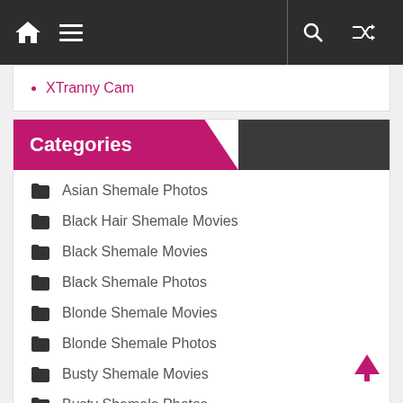Navigation bar with home, menu, search, and shuffle icons
XTranny Cam
Categories
Asian Shemale Photos
Black Hair Shemale Movies
Black Shemale Movies
Black Shemale Photos
Blonde Shemale Movies
Blonde Shemale Photos
Busty Shemale Movies
Busty Shemale Photos
Group Sex